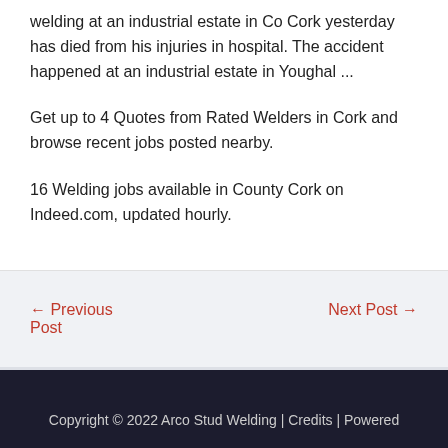welding at an industrial estate in Co Cork yesterday has died from his injuries in hospital. The accident happened at an industrial estate in Youghal ...
Get up to 4 Quotes from Rated Welders in Cork and browse recent jobs posted nearby.
16 Welding jobs available in County Cork on Indeed.com, updated hourly.
← Previous Post
Next Post →
Copyright © 2022 Arco Stud Welding | Credits | Powered